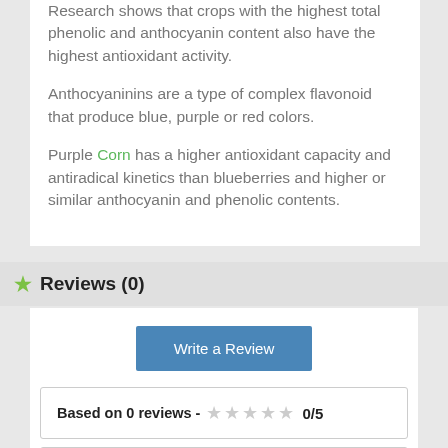Research shows that crops with the highest total phenolic and anthocyanin content also have the highest antioxidant activity.
Anthocyaninins are a type of complex flavonoid that produce blue, purple or red colors.
Purple Corn has a higher antioxidant capacity and antiradical kinetics than blueberries and higher or similar anthocyanin and phenolic contents.
Reviews (0)
Write a Review
Based on 0 reviews - ☆☆☆☆☆ 0/5
No reviews for the product
Be the first to write your review!